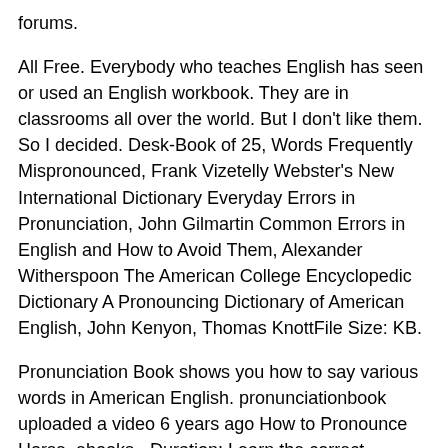forums.
All Free. Everybody who teaches English has seen or used an English workbook. They are in classrooms all over the world. But I don't like them. So I decided. Desk-Book of 25, Words Frequently Mispronounced, Frank Vizetelly Webster's New International Dictionary Everyday Errors in Pronunciation, John Gilmartin Common Errors in English and How to Avoid Them, Alexander Witherspoon The American College Encyclopedic Dictionary A Pronouncing Dictionary of American English, John Kenyon, Thomas KnottFile Size: KB.
Pronunciation Book shows you how to say various words in American English. pronunciationbook uploaded a video 6 years ago How to Pronounce Horse_ebooks - Duration: Learn the correct American English pronunciation of the integer following.
What Is Learn English Now. Learn English Now has been created to help learn-ers speak and converse in English on a basic level. For this reasons, book sections and activi-ties focus heavily on pronunciation and the correct the organization of